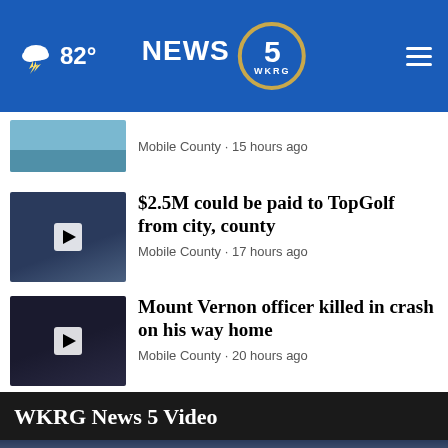82° NEWS 5 WKRG
Mobile County · 15 hours ago
$2.5M could be paid to TopGolf from city, county
Mobile County · 17 hours ago
Mount Vernon officer killed in crash on his way home
Mobile County · 20 hours ago
WKRG News 5 Video
[Figure (screenshot): Video thumbnail showing a brick building with blue sky, share icon top right, close button and ad banner at bottom]
BEAT THE LINES! GET YOUR TICKETS NOW!